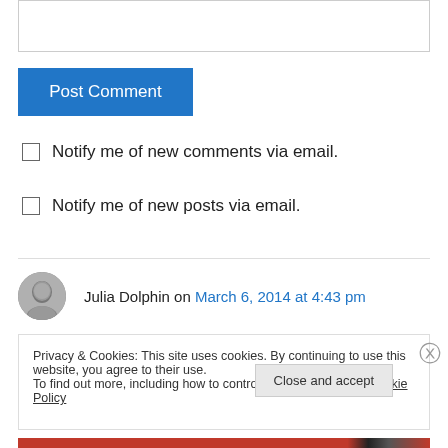[Figure (other): Empty textarea input box for comment]
Post Comment
Notify me of new comments via email.
Notify me of new posts via email.
Julia Dolphin on March 6, 2014 at 4:43 pm
Privacy & Cookies: This site uses cookies. By continuing to use this website, you agree to their use.
To find out more, including how to control cookies, see here: Cookie Policy
Close and accept